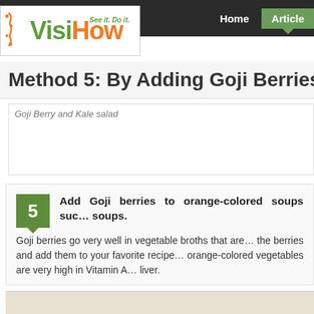[Figure (logo): VisiHow logo with tagline 'See it. Do it.' in green and orange]
Home | Articles
Method 5: By Adding Goji Berries to…
Goji Berry and Kale salad
5. Add Goji berries to orange-colored soups such as… soups. Goji berries go very well in vegetable broths that are… the berries and add them to your favorite recipe… orange-colored vegetables are very high in Vitamin A… liver.
[Figure (photo): Bottom edge of food photo]